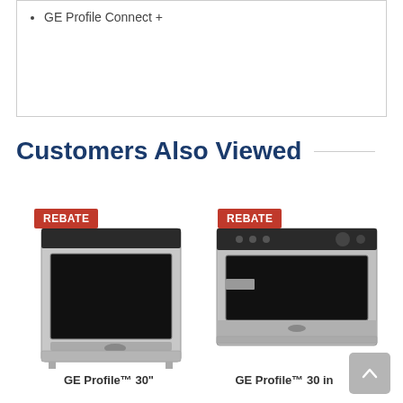GE Profile Connect +
Customers Also Viewed
[Figure (photo): GE Profile 30 inch slide-in range/oven in stainless steel with REBATE badge]
[Figure (photo): GE Profile 30 in wall oven/microwave combo in stainless steel with REBATE badge]
GE Profile™ 30"
GE Profile™ 30 in